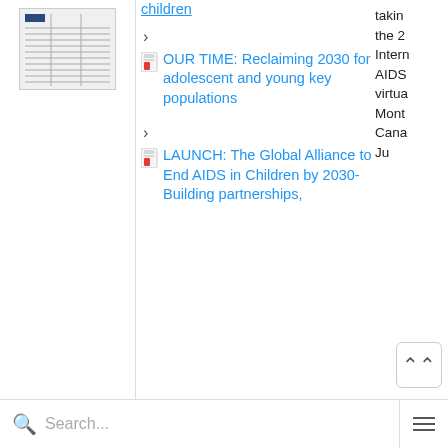[Figure (screenshot): Thumbnail of a document page with text and a small blue rectangle]
children
OUR TIME: Reclaiming 2030 for adolescent and young key populations
LAUNCH: The Global Alliance to End AIDS in Children by 2030- Building partnerships,
taking the 2 Intern AIDS virtua Mont Cana Ju
Search...